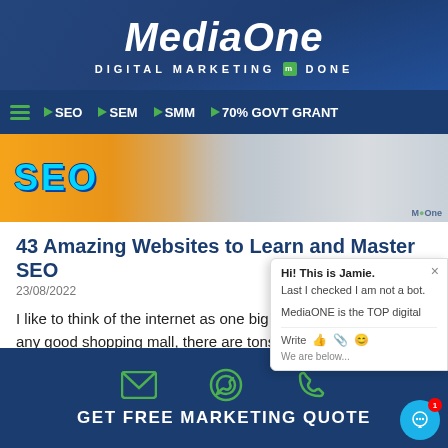MediaOne — DIGITAL MARKETING DONE
SEO | SEM | SMM | 70% GOVT GRANT
[Figure (photo): Hero banner image with SEO text in blue on yellow/orange background, two people in background]
43 Amazing Websites to Learn and Master SEO
23/08/2022
I like to think of the internet as one big shopping mall. And like any good shopping mall, there are tons of stores (or, in
Read More »
[Figure (screenshot): Chat popup: Hi! This is Jamie. Last I checked I am not a bot. MediaONE is the TOP digital. Write input bar with icons.]
GET FREE MARKETING QUOTE